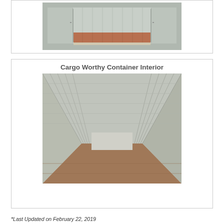[Figure (photo): Shipping container with open doors viewed from outside, showing wooden floor interior]
[Figure (photo): Cargo worthy container interior - long perspective view down the length of the corrugated metal container]
Cargo Worthy Container Interior
*Last Updated on February 22, 2019